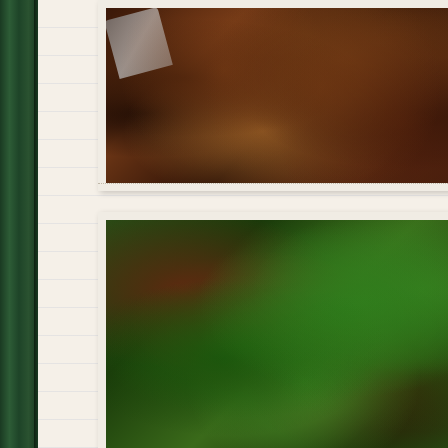[Figure (photo): Close-up food photo showing roasted or cooked ingredients with dark, caramelized textures, possibly dates or dried fruits with seeds/grains, with a metal spoon or utensil visible at top left]
Blitz the toast in a food process fine breadcrumbs, then add the c and blitz again until it forms
[Figure (photo): Close-up food photo showing a mixture of breadcrumbs or crumble topping with fresh green herb leaves (parsley or similar) scattered on top]